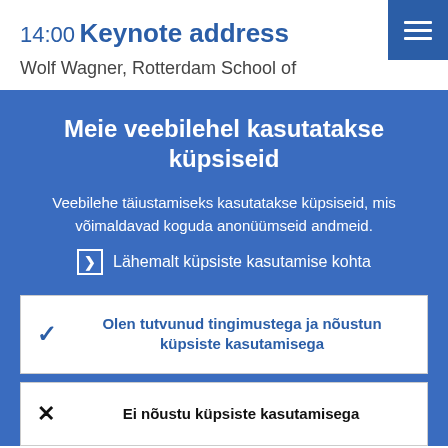14:00
Keynote address
Wolf Wagner, Rotterdam School of
Meie veebilehel kasutatakse küpsiseid
Veebilehe täiustamiseks kasutatakse küpsiseid, mis võimaldavad koguda anonüümseid andmeid.
▶ Lähemalt küpsiste kasutamise kohta
✓ Olen tutvunud tingimustega ja nõustun küpsiste kasutamisega
✗ Ei nõustu küpsiste kasutamisega